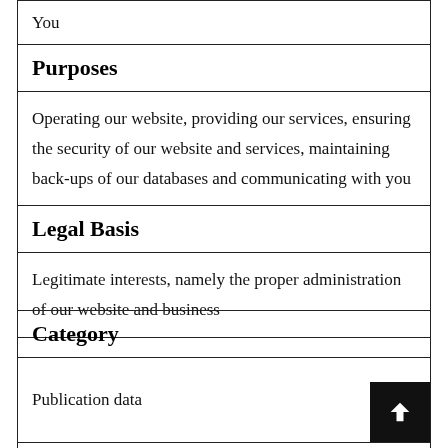You
Purposes
Operating our website, providing our services, ensuring the security of our website and services, maintaining back-ups of our databases and communicating with you
Legal Basis
Legitimate interests, namely the proper administration of our website and business
Category
Publication data
Description